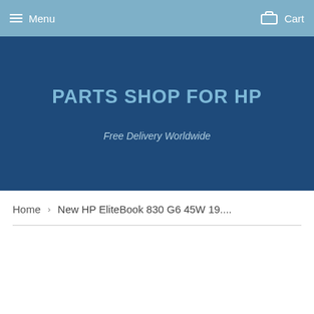Menu   Cart
PARTS SHOP FOR HP
Free Delivery Worldwide
Home › New HP EliteBook 830 G6 45W 19....